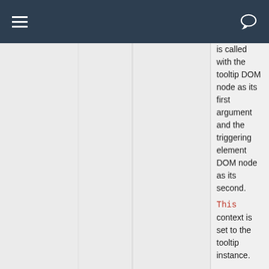|  |  |  |  |
| --- | --- | --- | --- |
|  |  |  | is called with the tooltip DOM node as its first argument and the triggering element DOM node as its second. This context is set to the tooltip instance. |
| selector | string | false | If a selector is provided, po... |